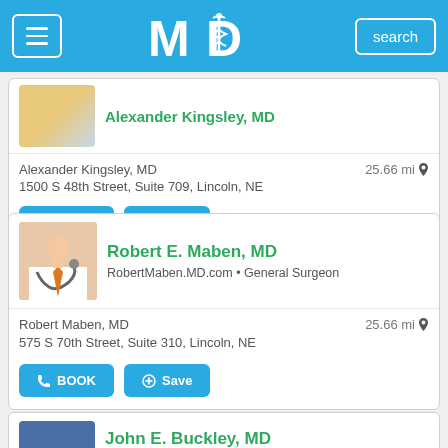MD - Doctor Search App Header with menu, logo, and search button
Alexander Kingsley, MD · 25.66 mi · 1500 S 48th Street, Suite 709, Lincoln, NE · BOOK · Save
Robert E. Maben, MD · RobertMaben.MD.com · General Surgeon · Robert Maben, MD · 25.66 mi · 575 S 70th Street, Suite 310, Lincoln, NE · BOOK · Save
John E. Buckley, MD (partially visible)